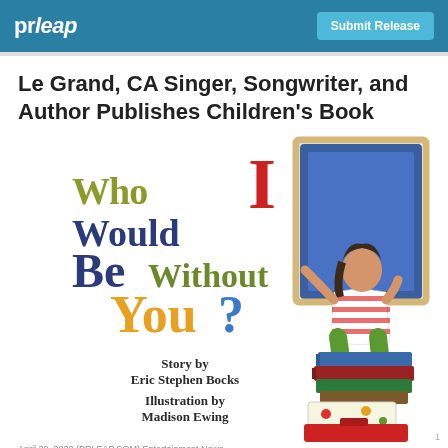prleap   Submit Release
Le Grand, CA Singer, Songwriter, and Author Publishes Children's Book
[Figure (illustration): Children's book cover for 'Who Would I Be Without You?' — Story by Eric Stephen Bocks, Illustration by Madison Ewing. Shows a girl in red-striped shirt and green pants climbing through a window, balanced on a stack of colorful books and luggage. Title text in colorful letters: 'Who' in olive green, 'Would' in dark blue, 'I' in red, 'Be' in dark blue, 'Without' in olive/teal, 'You?' in orange/yellow and blue.]
April 20, 2022 (PRLEAP.COM) Entertainment News